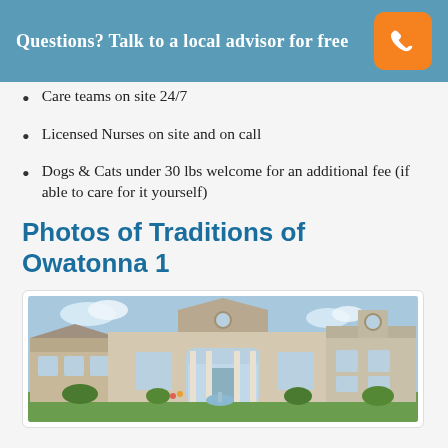Questions? Talk to a local advisor for free
Care teams on site 24/7
Licensed Nurses on site and on call
Dogs & Cats under 30 lbs welcome for an additional fee (if able to care for it yourself)
Photos of Traditions of Owatonna 1
[Figure (photo): Exterior photo of Traditions of Owatonna 1 assisted living facility — a large single-story building with brick and siding, arched windows, a central entrance with columns, and well-kept lawn.]